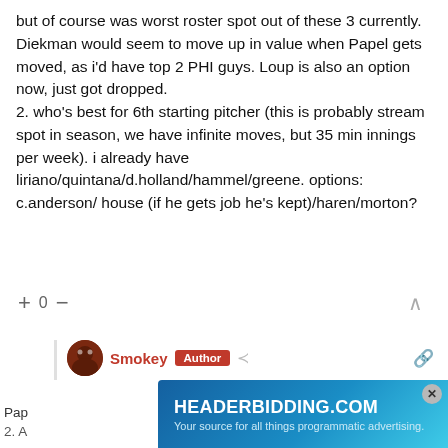but of course was worst roster spot out of these 3 currently. Diekman would seem to move up in value when Papel gets moved, as i'd have top 2 PHI guys. Loup is also an option now, just got dropped.
2. who's best for 6th starting pitcher (this is probably stream spot in season, we have infinite moves, but 35 min innings per week). i already have liriano/quintana/d.holland/hammel/greene. options: c.anderson/ house (if he gets job he's kept)/haren/morton?
+ 0 −
Smokey  Author  Reply to A Wesley Snipes Life  7 years ago
[Figure (other): HEADERBIDDING.COM advertisement banner — Your source for all things programmatic advertising. Blue gradient background with white text.]